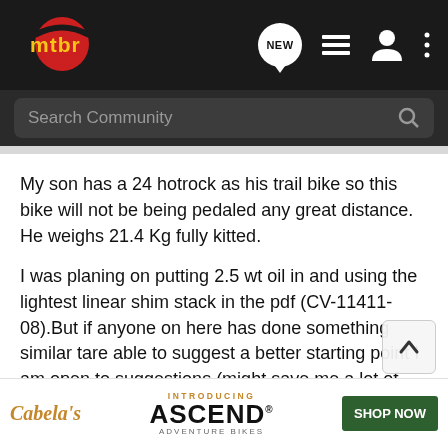mtbr — navigation bar with logo, NEW, list, user, and menu icons
Search Community
My son has a 24 hotrock as his trail bike so this bike will not be being pedaled any great distance. He weighs 21.4 Kg fully kitted.
I was planing on putting 2.5 wt oil in and using the lightest linear shim stack in the pdf (CV-11411-08).But if anyone on here has done something similar tare able to suggest a better starting point I am open to suggestions (might save me a lot of false starts). Also I have read that the R7 will lose some travel at the sort of low pressures he will be running. As long as it its not too much I a...d negative... a problem
[Figure (screenshot): Cabela's Ascend Adventure Bikes advertisement banner with INTRODUCING ASCEND and SHOP NOW button]